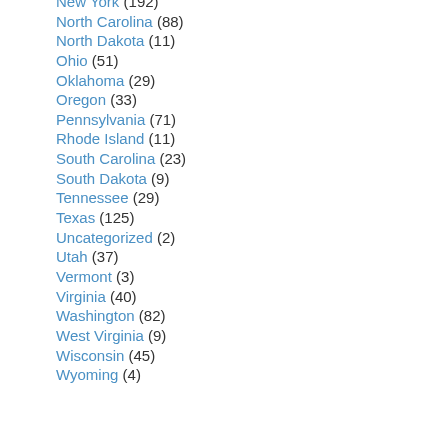New York (192)
North Carolina (88)
North Dakota (11)
Ohio (51)
Oklahoma (29)
Oregon (33)
Pennsylvania (71)
Rhode Island (11)
South Carolina (23)
South Dakota (9)
Tennessee (29)
Texas (125)
Uncategorized (2)
Utah (37)
Vermont (3)
Virginia (40)
Washington (82)
West Virginia (9)
Wisconsin (45)
Wyoming (4)